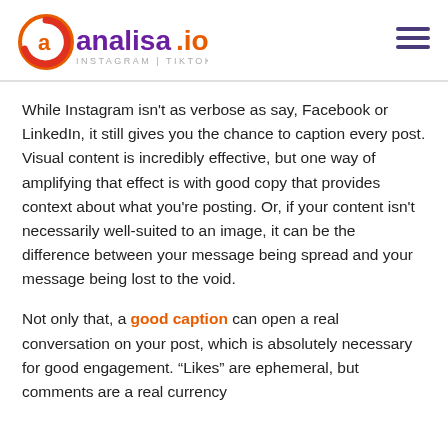analisa.io INSTAGRAM | TIKTOK
While Instagram isn't as verbose as say, Facebook or LinkedIn, it still gives you the chance to caption every post. Visual content is incredibly effective, but one way of amplifying that effect is with good copy that provides context about what you're posting. Or, if your content isn't necessarily well-suited to an image, it can be the difference between your message being spread and your message being lost to the void.
Not only that, a good caption can open a real conversation on your post, which is absolutely necessary for good engagement. "Likes" are ephemeral, but comments are a real currency...